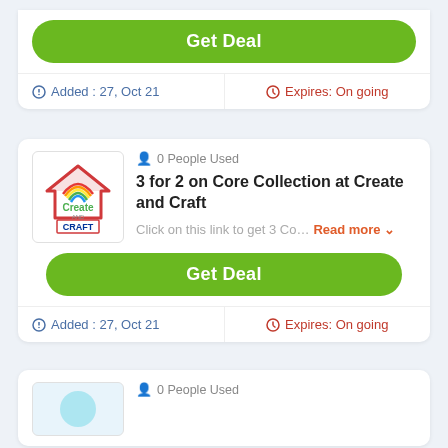Get Deal
Added : 27, Oct 21
Expires: On going
[Figure (logo): Create and Craft logo — a red house outline with a rainbow arc, green 'Create' text, and 'AND CRAFT' in a blue/red bordered box]
0 People Used
3 for 2 on Core Collection at Create and Craft
Click on this link to get 3 Co… Read more
Get Deal
Added : 27, Oct 21
Expires: On going
0 People Used